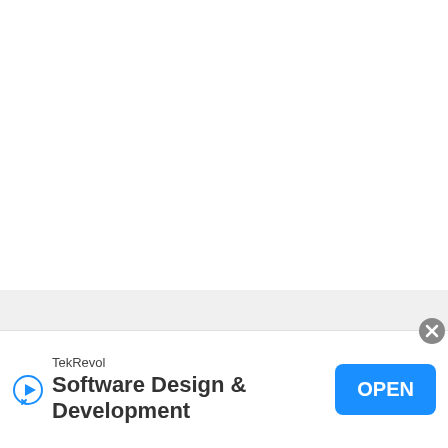Recent Posts
[Figure (screenshot): Mobile app advertisement banner for TekRevol Software Design & Development with an OPEN button and close icon]